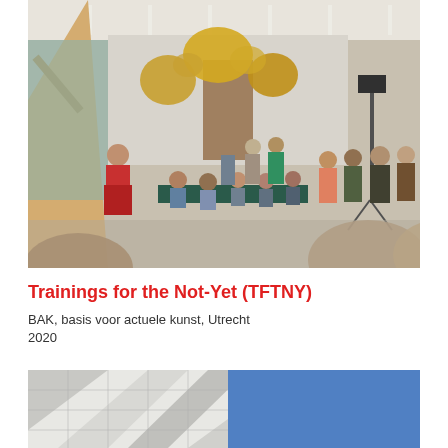[Figure (photo): Indoor gallery or event space with people gathered around a long table, a woman in a red floral dress speaking near wooden structure on left, yellow floral sculptural installation hanging from ceiling, large crowd of visitors]
Trainings for the Not-Yet (TFTNY)
BAK, basis voor actuele kunst, Utrecht
2020
[Figure (photo): Exterior of a modern building with a blue sky background and white geometric facade panels]